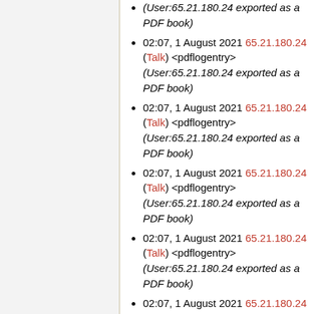(User:65.21.180.24 exported as a PDF book)
02:07, 1 August 2021 65.21.180.24 (Talk) <pdflogentry> (User:65.21.180.24 exported as a PDF book)
02:07, 1 August 2021 65.21.180.24 (Talk) <pdflogentry> (User:65.21.180.24 exported as a PDF book)
02:07, 1 August 2021 65.21.180.24 (Talk) <pdflogentry> (User:65.21.180.24 exported as a PDF book)
02:07, 1 August 2021 65.21.180.24 (Talk) <pdflogentry> (User:65.21.180.24 exported as a PDF book)
02:07, 1 August 2021 65.21.180.24 (Talk) <pdflogentry> (User:65.21.180.24 exported as a PDF book) (partial)